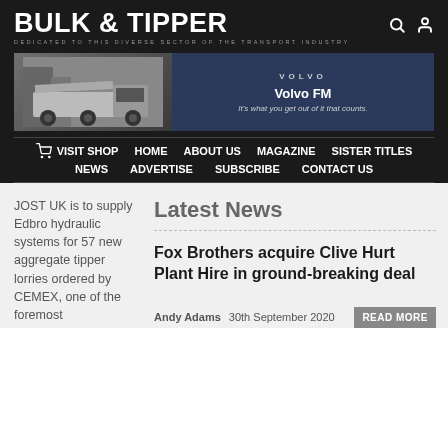BULK & TIPPER
DEDICATED TO THIS DIVERSE SECTOR OF THE TRANSPORT INDUSTRY
[Figure (photo): Advertisement banner for Volvo FM truck with tagline 'It's what you get out of it that counts.']
VISIT SHOP  HOME  ABOUT US  MAGAZINE  SISTER TITLES  NEWS  ADVERTISE  SUBSCRIBE  CONTACT US
Latest News
JOST UK is to supply Edbro hydraulic systems for 57 new aggregate tipper lorries ordered by CEMEX, one of the foremost
Fox Brothers acquire Clive Hurt Plant Hire in ground-breaking deal
Andy Adams  30th September 2020  READ MORE